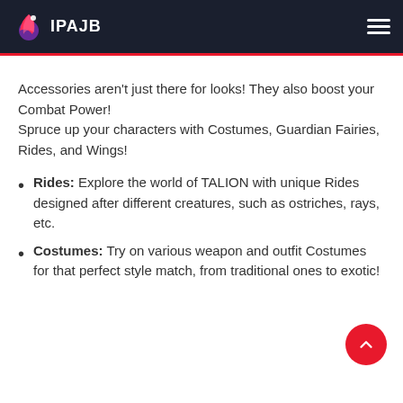IPAJB
Accessories aren't just there for looks! They also boost your Combat Power! Spruce up your characters with Costumes, Guardian Fairies, Rides, and Wings!
Rides: Explore the world of TALION with unique Rides designed after different creatures, such as ostriches, rays, etc.
Costumes: Try on various weapon and outfit Costumes for that perfect style match, from traditional ones to exotic!
Wings: Wings add a finishing touch to your look! Choose of wings that suit you best!